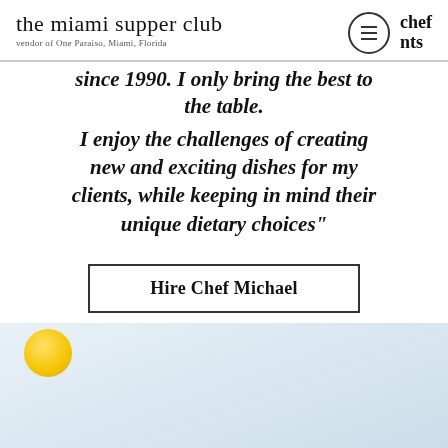the miami supper club
vendor of One Paraiso, Miami, Florida
since 1990. I only bring the best to the table.
I enjoy the challenges of creating new and exciting dishes for my clients, while keeping in mind their unique dietary choices"
Hire Chef Michael
[Figure (photo): Light blue background with a yellow egg yolk visible in the upper left corner, suggesting food-related imagery for a chef profile.]